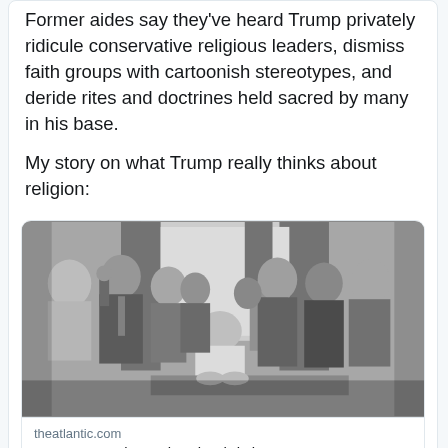Former aides say they've heard Trump privately ridicule conservative religious leaders, dismiss faith groups with cartoonish stereotypes, and deride rites and doctrines held sacred by many in his base.
My story on what Trump really thinks about religion:
[Figure (photo): Black and white photograph of Donald Trump seated at a desk in the Oval Office surrounded by religious leaders and aides appearing to pray, with an American flag and curtained windows in the background.]
theatlantic.com
Trump Secretly Mocks His Christian Supporters